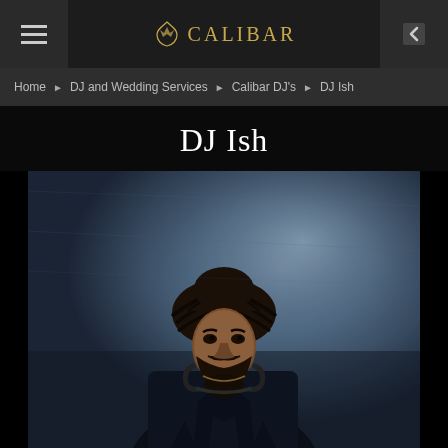CALIBAR
Home ▶ DJ and Wedding Services ▶ Calibar DJ's ▶ DJ Ish
DJ Ish
[Figure (photo): Portrait photo of DJ Ish, a man wearing a black turban and dark jacket with headphones around his neck, standing against a blue-grey textured background, looking to the side.]